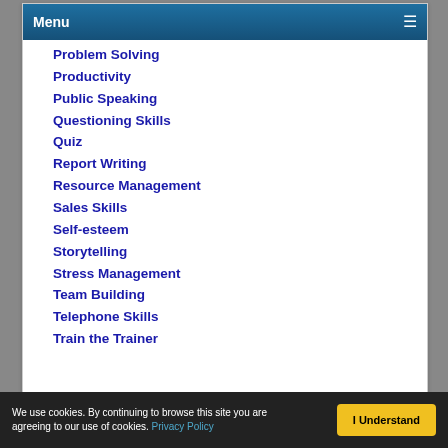Menu
Problem Solving
Productivity
Public Speaking
Questioning Skills
Quiz
Report Writing
Resource Management
Sales Skills
Self-esteem
Storytelling
Stress Management
Team Building
Telephone Skills
Train the Trainer
We use cookies. By continuing to browse this site you are agreeing to our use of cookies. Privacy Policy | I Understand